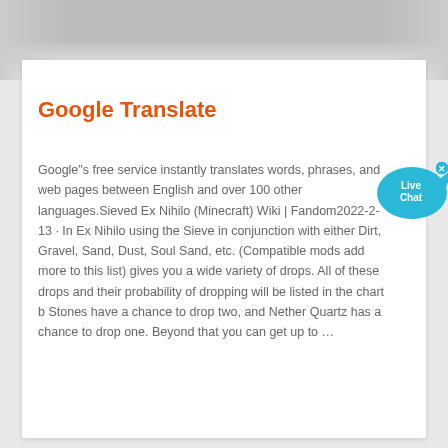[Figure (photo): Grayscale photo of what appears to be an industrial or architectural interior, partially visible at the top of the page, fading into white.]
Google Translate
Google"s free service instantly translates words, phrases, and web pages between English and over 100 other languages.Sieved Ex Nihilo (Minecraft) Wiki | Fandom2022-2-13 · In Ex Nihilo using the Sieve in conjunction with either Dirt, Gravel, Sand, Dust, Soul Sand, etc. (Compatible mods add more to this list) gives you a wide variety of drops. All of these drops and their probability of dropping will be listed in the chart b Stones have a chance to drop two, and Nether Quartz has a chance to drop one. Beyond that you can get up to …
[Figure (illustration): Blue speech bubble with 'Live Chat' text and a small fish icon, with an X button in the top right corner.]